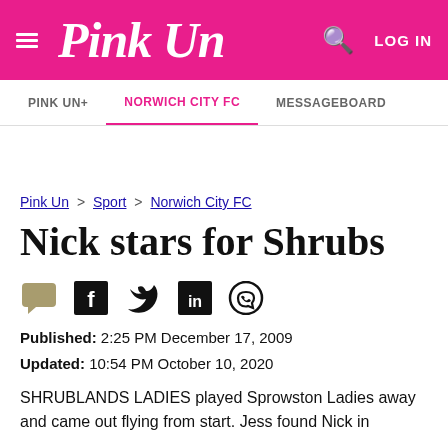Pink Un
PINK UN+ | NORWICH CITY FC | MESSAGEBOARD
Pink Un > Sport > Norwich City FC
Nick stars for Shrubs
Published: 2:25 PM December 17, 2009
Updated: 10:54 PM October 10, 2020
SHRUBLANDS LADIES played Sprowston Ladies away and came out flying from start. Jess found Nick in